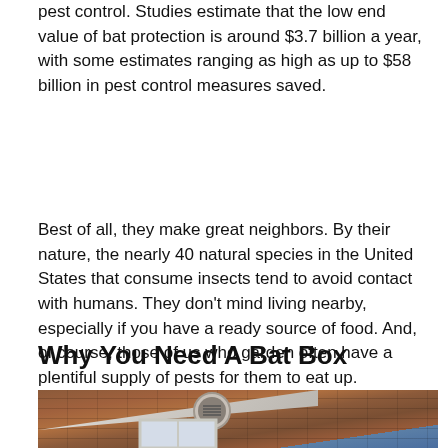pest control. Studies estimate that the low end value of bat protection is around $3.7 billion a year, with some estimates ranging as high as up to $58 billion in pest control measures saved.
Best of all, they make great neighbors. By their nature, the nearly 40 natural species in the United States that consume insects tend to avoid contact with humans. They don't mind living nearby, especially if you have a ready source of food. And, of course, those of us who garden often have a plentiful supply of pests for them to eat up.
Why You Need A Bat Box
[Figure (photo): Exterior photo of a brick house showing the roofline and gable end with a circular vent, a window below, and tree branches visible on the right against a blue sky.]